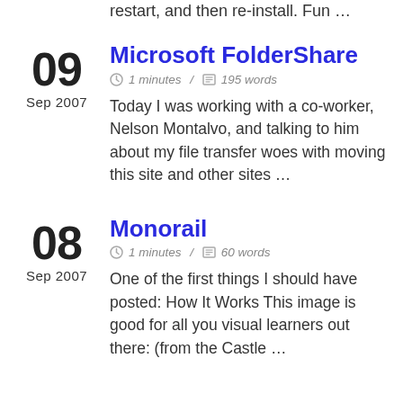restart, and then re-install. Fun …
Microsoft FolderShare
1 minutes / 195 words
Today I was working with a co-worker, Nelson Montalvo, and talking to him about my file transfer woes with moving this site and other sites …
Monorail
1 minutes / 60 words
One of the first things I should have posted: How It Works This image is good for all you visual learners out there: (from the Castle …